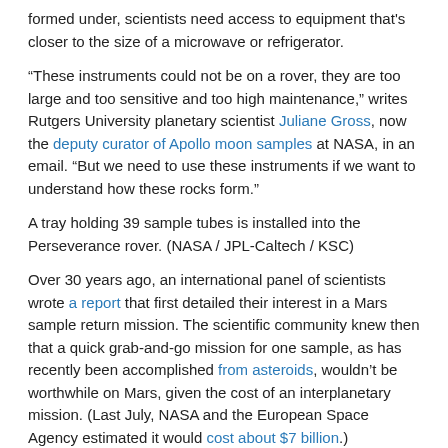formed under, scientists need access to equipment that's closer to the size of a microwave or refrigerator.
“These instruments could not be on a rover, they are too large and too sensitive and too high maintenance,” writes Rutgers University planetary scientist Juliane Gross, now the deputy curator of Apollo moon samples at NASA, in an email. “But we need to use these instruments if we want to understand how these rocks form.”
A tray holding 39 sample tubes is installed into the Perseverance rover. (NASA / JPL-Caltech / KSC)
Over 30 years ago, an international panel of scientists wrote a report that first detailed their interest in a Mars sample return mission. The scientific community knew then that a quick grab-and-go mission for one sample, as has recently been accomplished from asteroids, wouldn’t be worthwhile on Mars, given the cost of an interplanetary mission. (Last July, NASA and the European Space Agency estimated it would cost about $7 billion.)
A useful sample return mission from Mars requires grabbing a bunch of samples from many scientifically interesting locations. “Rocks and minerals record the conditions of these environment from which they crystallized,” says Gross. “So, bringing back these samples that span a